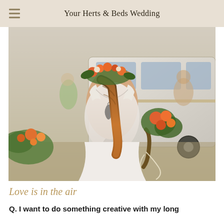Your Herts & Beds Wedding
[Figure (photo): Bride seen from behind wearing a lace backless wedding dress with a floral crown and braided hair, holding an orange and green bouquet, standing in front of a vintage VW bus]
Love is in the air
Q. I want to do something creative with my long